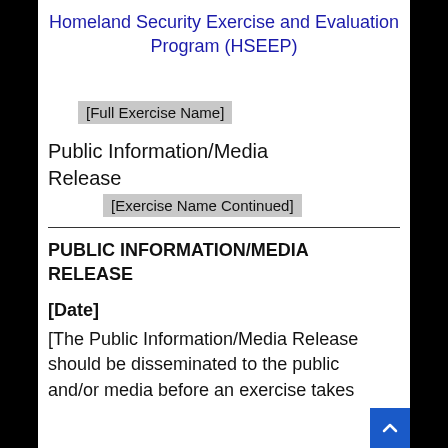Homeland Security Exercise and Evaluation Program (HSEEP)
[Full Exercise Name]
Public Information/Media Release
[Exercise Name Continued]
PUBLIC INFORMATION/MEDIA RELEASE
[Date]
[The Public Information/Media Release should be disseminated to the public and/or media before an exercise takes place